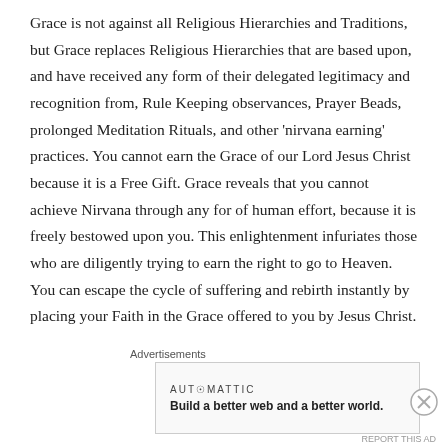Grace is not against all Religious Hierarchies and Traditions, but Grace replaces Religious Hierarchies that are based upon, and have received any form of their delegated legitimacy and recognition from, Rule Keeping observances, Prayer Beads, prolonged Meditation Rituals, and other 'nirvana earning' practices. You cannot earn the Grace of our Lord Jesus Christ because it is a Free Gift. Grace reveals that you cannot achieve Nirvana through any for of human effort, because it is freely bestowed upon you. This enlightenment infuriates those who are diligently trying to earn the right to go to Heaven. You can escape the cycle of suffering and rebirth instantly by placing your Faith in the Grace offered to you by Jesus Christ.
Advertisements
[Figure (other): Advertisement banner: AUTOMATTIC logo with tagline 'Build a better web and a better world.']